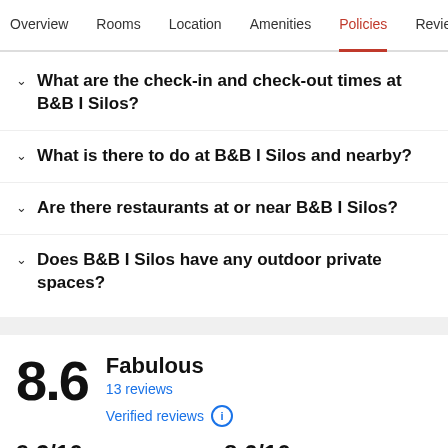Overview  Rooms  Location  Amenities  Policies  Reviews
What are the check-in and check-out times at B&B I Silos?
What is there to do at B&B I Silos and nearby?
Are there restaurants at or near B&B I Silos?
Does B&B I Silos have any outdoor private spaces?
8.6 Fabulous
13 reviews
Verified reviews
9.2/10 Cleanliness
8.6/10 Staff & service
3.0/10
8.2/10